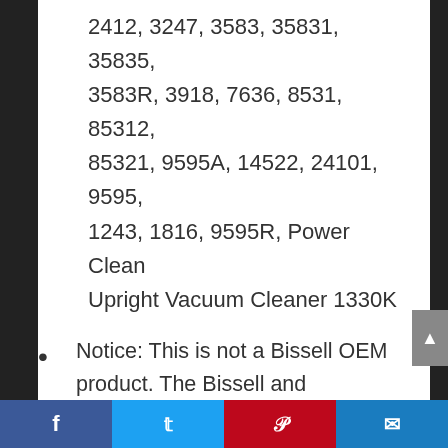2412, 3247, 3583, 35831, 35835, 3583R, 3918, 7636, 8531, 85312, 85321, 9595A, 14522, 24101, 9595, 1243, 1816, 9595R, Power Clean Upright Vacuum Cleaner 1330K
Notice: This is not a Bissell OEM product. The Bissell and CleanView brand names and logos are the registered trademarks of their respective owners. Any use of the Bissell and CleanView brand name or model designation for this product is made solely for purposes of demonstrating compatibility.
For any reason you are not satisfied
Facebook Twitter Pinterest Email